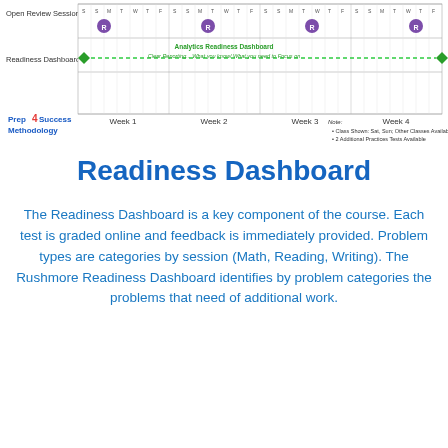[Figure (schematic): Course schedule diagram showing 4 weeks with rows for Open Review Session and Readiness Dashboard. Green dashed line spans the Readiness Dashboard row with label 'Analytics Readiness Dashboard - Clear Reporting... What you know/ What you need to Focus on'. Purple R circles mark review sessions. Bottom shows Week 1-4 labels and day-of-week ticks. Prep4Success Methodology logo on left. Note about class schedule at right.]
Readiness Dashboard
The Readiness Dashboard is a key component of the course. Each test is graded online and feedback is immediately provided. Problem types are categories by session (Math, Reading, Writing). The Rushmore Readiness Dashboard identifies by problem categories the problems that need of additional work.